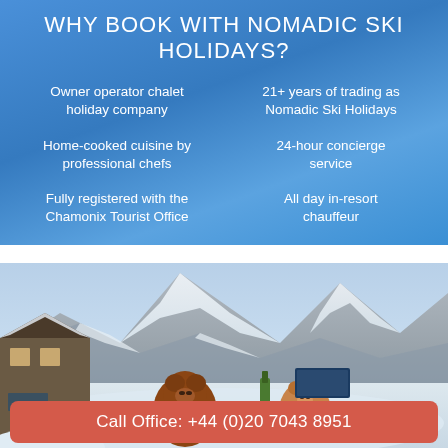WHY BOOK WITH NOMADIC SKI HOLIDAYS?
Owner operator chalet holiday company
21+ years of trading as Nomadic Ski Holidays
Home-cooked cuisine by professional chefs
24-hour concierge service
Fully registered with the Chamonix Tourist Office
All day in-resort chauffeur
[Figure (photo): Two teddy bears sitting at a table outdoors with a bottle of champagne, with snow-covered mountains (Mont Blanc massif) in the background and a ski chalet building on the left side.]
Call Office: +44 (0)20 7043 8951